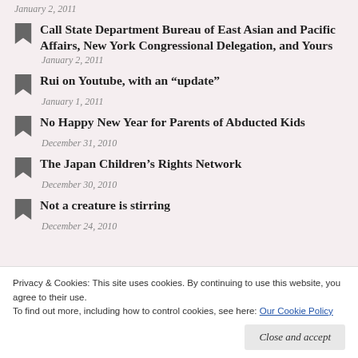January 2, 2011
Call State Department Bureau of East Asian and Pacific Affairs, New York Congressional Delegation, and Yours
January 2, 2011
Rui on Youtube, with an “update”
January 1, 2011
No Happy New Year for Parents of Abducted Kids
December 31, 2010
The Japan Children’s Rights Network
December 30, 2010
Not a creature is stirring
December 24, 2010
Privacy & Cookies: This site uses cookies. By continuing to use this website, you agree to their use.
To find out more, including how to control cookies, see here: Our Cookie Policy
December 19, 2010